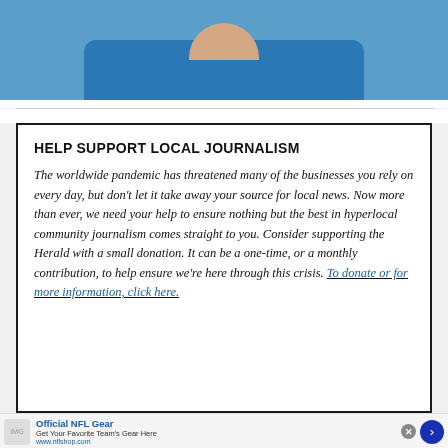[Figure (photo): Partial photo of a person wearing a blue t-shirt, showing only the lower face/chin and upper chest area against a blue background]
HELP SUPPORT LOCAL JOURNALISM
The worldwide pandemic has threatened many of the businesses you rely on every day, but don't let it take away your source for local news. Now more than ever, we need your help to ensure nothing but the best in hyperlocal community journalism comes straight to you. Consider supporting the Herald with a small donation. It can be a one-time, or a monthly contribution, to help ensure we're here through this crisis. To donate or for more information, click here.
[Figure (advertisement): Official NFL Gear advertisement banner. Text: 'Official NFL Gear', 'Get Your Favorite Team's Gear Here', 'www.nflshop.com'. Blue arrow button on right. Close X button.]